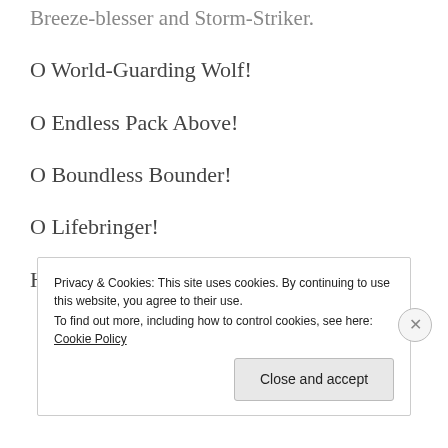Breeze-blesser and Storm-Striker.
O World-Guarding Wolf!
O Endless Pack Above!
O Boundless Bounder!
O Lifebringer!
Hail Sky, Great Watcher Above!
Privacy & Cookies: This site uses cookies. By continuing to use this website, you agree to their use.
To find out more, including how to control cookies, see here: Cookie Policy
Close and accept